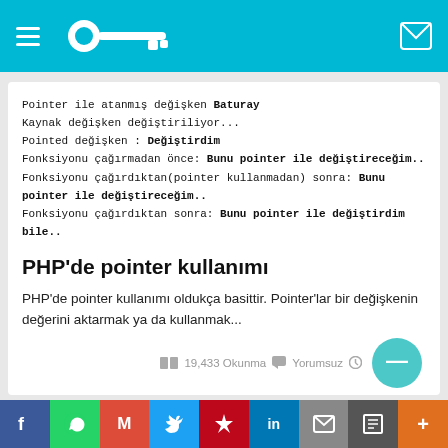Navigation bar with hamburger menu, key logo, and mail icon
Pointer ile atanmış değişken Baturay
Kaynak değişken değiştiriliyor...
Pointed değişken : Değiştirdim
Fonksiyonu çağırmadan önce: Bunu pointer ile değiştireceğim..
Fonksiyonu çağırdıktan(pointer kullanmadan) sonra: Bunu pointer ile değiştireceğim..
Fonksiyonu çağırdıktan sonra: Bunu pointer ile değiştirdim bile..
PHP'de pointer kullanımı
PHP'de pointer kullanımı oldukça basittir. Pointer'lar bir değişkenin değerini aktarmak ya da kullanmak...
19,433 Okunma   Yorumsuz
Veri politikasındaki amaçlarla sınırlı ve mevzuata uygun şekilde çerez
f  WhatsApp  M  Twitter  Pinterest  in  Mail  Print  More